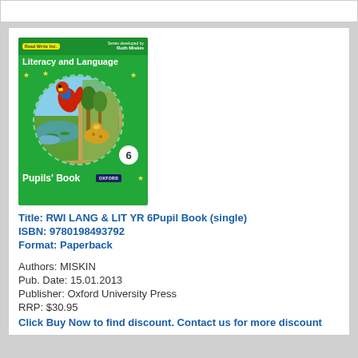[Figure (illustration): Book cover: RWI Literacy and Language Pupils' Book 6, green cover with jungle animals in a circle, published by Oxford University Press]
Title: RWI LANG & LIT YR 6Pupil Book (single)
ISBN: 9780198493792
Format: Paperback
Authors: MISKIN
Pub. Date: 15.01.2013
Publisher: Oxford University Press
RRP: $30.95
Click Buy Now to find discount. Contact us for more discount